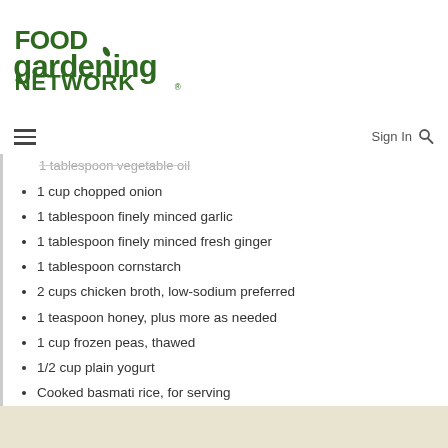[Figure (logo): Food Gardening Network logo in dark green bold text with a leaf on the letter i]
Sign In 🔍
1 tablespoon vegetable oil (partial, clipped)
1 cup chopped onion
1 tablespoon finely minced garlic
1 tablespoon finely minced fresh ginger
1 tablespoon cornstarch
2 cups chicken broth, low-sodium preferred
1 teaspoon honey, plus more as needed
1 cup frozen peas, thawed
1/2 cup plain yogurt
Cooked basmati rice, for serving
Chopped fresh parsley, for garnish